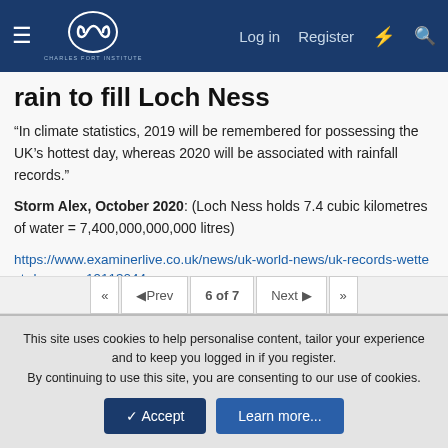Charles Fort Institute — navigation bar with Log in, Register, lightning, search icons
rain to fill Loch Ness
“In climate statistics, 2019 will be remembered for possessing the UK’s hottest day, whereas 2020 will be associated with rainfall records.”
Storm Alex, October 2020: (Loch Ness holds 7.4 cubic kilometres of water = 7,400,000,000,000 litres)
https://www.examinerlive.co.uk/news/uk-world-news/uk-records-wettest-day-ever-19113044
oxo66 and Trevp666
6 of 7 — pagination: First, Prev, 6 of 7, Next, Last
This site uses cookies to help personalise content, tailor your experience and to keep you logged in if you register.
By continuing to use this site, you are consenting to our use of cookies.